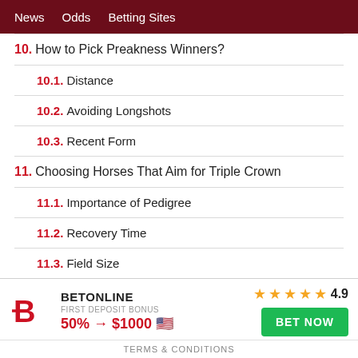News  Odds  Betting Sites
10. How to Pick Preakness Winners?
10.1. Distance
10.2. Avoiding Longshots
10.3. Recent Form
11. Choosing Horses That Aim for Triple Crown
11.1. Importance of Pedigree
11.2. Recovery Time
11.3. Field Size
12. Latest Headlines
BETONLINE  ★★★★★ 4.9  FIRST DEPOSIT BONUS  50% → $1000 🇺🇸  BET NOW
TERMS & CONDITIONS